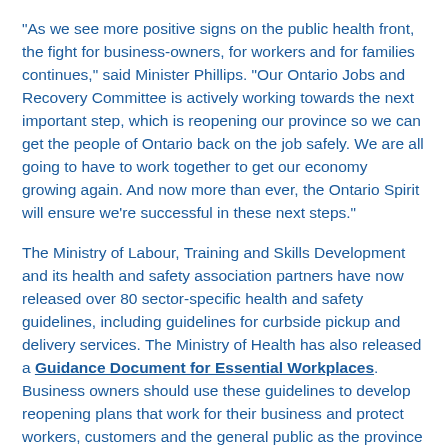"As we see more positive signs on the public health front, the fight for business-owners, for workers and for families continues," said Minister Phillips. "Our Ontario Jobs and Recovery Committee is actively working towards the next important step, which is reopening our province so we can get the people of Ontario back on the job safely. We are all going to have to work together to get our economy growing again. And now more than ever, the Ontario Spirit will ensure we're successful in these next steps."
The Ministry of Labour, Training and Skills Development and its health and safety association partners have now released over 80 sector-specific health and safety guidelines, including guidelines for curbside pickup and delivery services. The Ministry of Health has also released a Guidance Document for Essential Workplaces. Business owners should use these guidelines to develop reopening plans that work for their business and protect workers, customers and the general public as the province prepares for the gradual reopening of the economy.
"Throughout this period of uncertainty, businesses and people across Ontario have responded tremendously to help fight this outbreak," said Vic Fedeli, Minister of Economic Development, Job Creation and Trade.